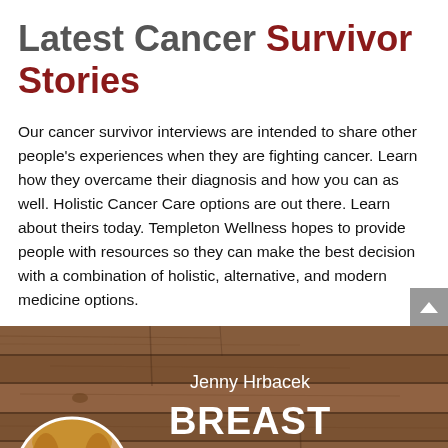Latest Cancer Survivor Stories
Our cancer survivor interviews are intended to share other people's experiences when they are fighting cancer. Learn how they overcame their diagnosis and how you can as well. Holistic Cancer Care options are out there. Learn about theirs today. Templeton Wellness hopes to provide people with resources so they can make the best decision with a combination of holistic, alternative, and modern medicine options.
[Figure (photo): Promotional card with wood plank background showing a woman (Jenny Hrbacek) in a circular photo on the left, with text reading 'Jenny Hrbacek BREAST CANCER' on the right in white text.]